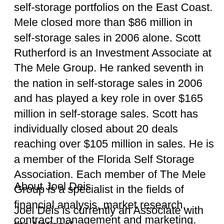self-storage portfolios on the East Coast. Mele closed more than $86 million in self-storage sales in 2006 alone. Scott Rutherford is an Investment Associate at The Mele Group. He ranked seventh in the nation in self-storage sales in 2006 and has played a key role in over $165 million in self-storage sales. Scott has individually closed about 20 deals reaching over $105 million in sales. He is a member of the Florida Self Storage Association. Each member of The Mele Group is a specialist in the fields of financial analysis, market research, contract management and marketing. Visit the firm online at http://www.melestoragegroup.com.
About Joel Deis
Joel Deis is currently an Associate with the National